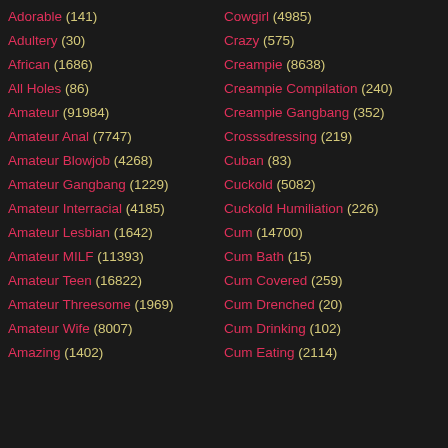Adorable (141)
Adultery (30)
African (1686)
All Holes (86)
Amateur (91984)
Amateur Anal (7747)
Amateur Blowjob (4268)
Amateur Gangbang (1229)
Amateur Interracial (4185)
Amateur Lesbian (1642)
Amateur MILF (11393)
Amateur Teen (16822)
Amateur Threesome (1969)
Amateur Wife (8007)
Amazing (1402)
Cowgirl (4985)
Crazy (575)
Creampie (8638)
Creampie Compilation (240)
Creampie Gangbang (352)
Crosssdressing (219)
Cuban (83)
Cuckold (5082)
Cuckold Humiliation (226)
Cum (14700)
Cum Bath (15)
Cum Covered (259)
Cum Drenched (20)
Cum Drinking (102)
Cum Eating (2114)